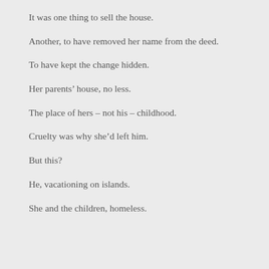It was one thing to sell the house.
Another, to have removed her name from the deed.
To have kept the change hidden.
Her parents’ house, no less.
The place of hers – not his – childhood.
Cruelty was why she’d left him.
But this?
He, vacationing on islands.
She and the children, homeless.